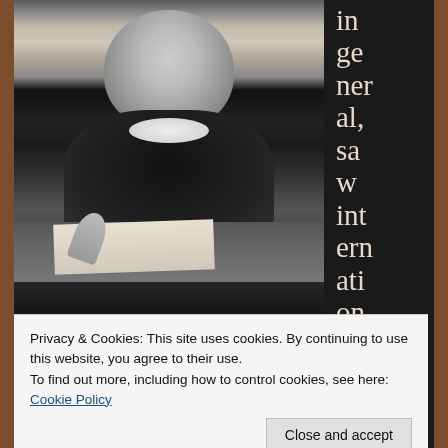[Figure (photo): Black and white photograph of a young woman sitting at a desk writing in a book, wearing a dark top with a white collar and a necklace.]
in general, saw international defeat and castigation after the 9th century when their last bastion fell and that is the origin of the word “slave” (note: Latin “esclava” has a more modern etymology, servant, servitude
Privacy & Cookies: This site uses cookies. By continuing to use this website, you agree to their use.
To find out more, including how to control cookies, see here:
Cookie Policy
(maybe using Anne Frank’s male nourished